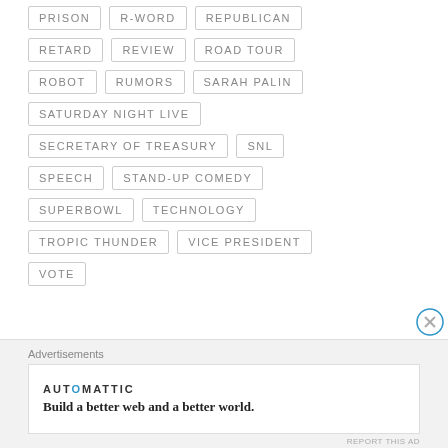PRISON
R-WORD
REPUBLICAN
RETARD
REVIEW
ROAD TOUR
ROBOT
RUMORS
SARAH PALIN
SATURDAY NIGHT LIVE
SECRETARY OF TREASURY
SNL
SPEECH
STAND-UP COMEDY
SUPERBOWL
TECHNOLOGY
TROPIC THUNDER
VICE PRESIDENT
VOTE
Advertisements
AUTOMATTIC
Build a better web and a better world.